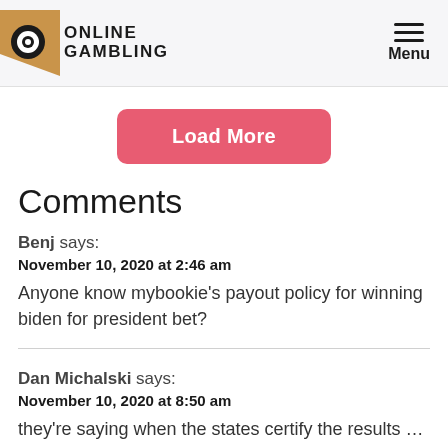Online Gambling — Menu
Load More
Comments
Benj says:
November 10, 2020 at 2:46 am
Anyone know mybookie's payout policy for winning biden for president bet?
Dan Michalski says:
November 10, 2020 at 8:50 am
they're saying when the states certify the results … which I